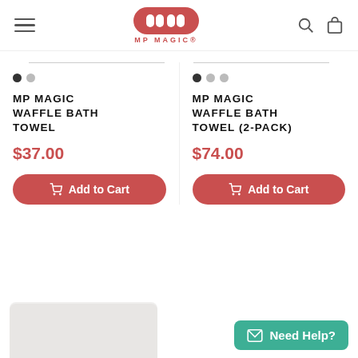MP MAGIC — Navigation header with logo, hamburger menu, search and bag icons
MP MAGIC WAFFLE BATH TOWEL
$37.00
Add to Cart
MP MAGIC WAFFLE BATH TOWEL (2-PACK)
$74.00
Add to Cart
Need Help?